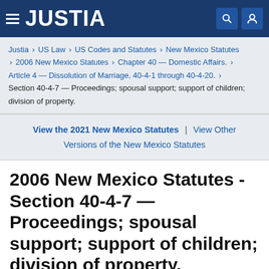JUSTIA
Justia › US Law › US Codes and Statutes › New Mexico Statutes › 2006 New Mexico Statutes › Chapter 40 — Domestic Affairs. › Article 4 — Dissolution of Marriage, 40-4-1 through 40-4-20. › Section 40-4-7 — Proceedings; spousal support; support of children; division of property.
View the 2021 New Mexico Statutes | View Other Versions of the New Mexico Statutes
2006 New Mexico Statutes - Section 40-4-7 — Proceedings; spousal support; support of children; division of property.
40-4-7. Proceedings; spousal support; support of